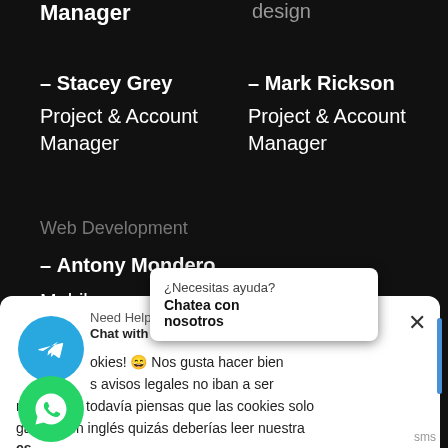Manager
design
– Stacey Grey
Project & Account Manager
– Mark Rickson
Project & Account Manager
Web Development
– Antony Mondero
Mobile … per
[Figure (screenshot): WhatsApp chat popup in Spanish: ¿Necesitas ayuda? Chatea con nosotros]
[Figure (screenshot): Need Help? Chat with us popup]
[Figure (screenshot): Cookie consent notice in Spanish about cookies]
[Figure (screenshot): Telegram blue circle button with paper plane icon]
[Figure (screenshot): WhatsApp green circle button]